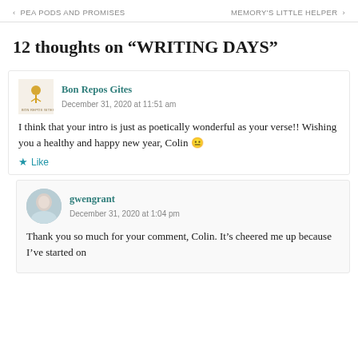< PEA PODS AND PROMISES
MEMORY'S LITTLE HELPER >
12 thoughts on “WRITING DAYS”
Bon Repos Gites
December 31, 2020 at 11:51 am
I think that your intro is just as poetically wonderful as your verse!! Wishing you a healthy and happy new year, Colin 🙂
★ Like
gwengrant
December 31, 2020 at 1:04 pm
Thank you so much for your comment, Colin. It ’s cheered me up because I’ve started on